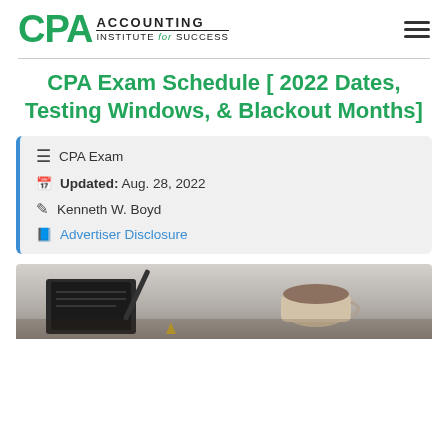CPA Accounting Institute for Success
CPA Exam Schedule [ 2022 Dates, Testing Windows, & Blackout Months]
CPA Exam
Updated: Aug. 28, 2022
Kenneth W. Boyd
Advertiser Disclosure
[Figure (photo): Photo of a desk with a notebook, pen and coffee cup — partial view at bottom of page]